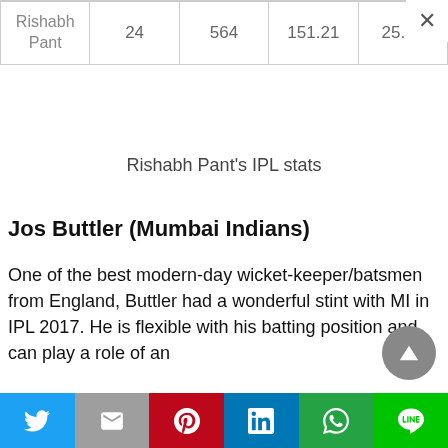| Rishabh Pant | 24 | 564 | 151.21 | 25.64 |
Rishabh Pant's IPL stats
Jos Buttler (Mumbai Indians)
One of the best modern-day wicket-keeper/batsmen from England, Buttler had a wonderful stint with MI in IPL 2017. He is flexible with his batting position and can play a role of an
[Figure (other): Social share bar with Twitter, Gmail, Pinterest, LinkedIn, WhatsApp, and LINE buttons]